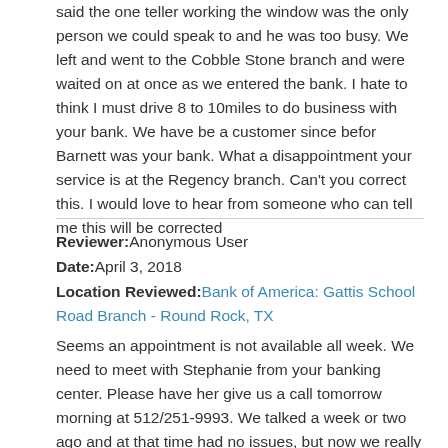said the one teller working the window was the only person we could speak to and he was too busy. We left and went to the Cobble Stone branch and were waited on at once as we entered the bank. I hate to think I must drive 8 to 10miles to do business with your bank. We have be a customer since befor Barnett was your bank. What a disappointment your service is at the Regency branch. Can't you correct this. I would love to hear from someone who can tell me this will be corrected
Reviewer: Anonymous User
Date: April 3, 2018
Location Reviewed: Bank of America: Gattis School Road Branch - Round Rock, TX
Seems an appointment is not available all week. We need to meet with Stephanie from your banking center. Please have her give us a call tomorrow morning at 512/251-9993. We talked a week or two ago and at that time had no issues, but now we really do. Please give us a call back.